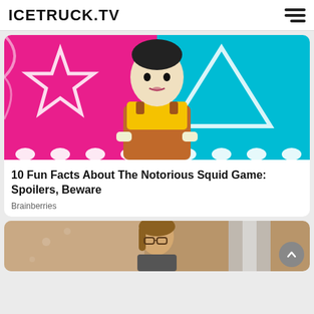ICETRUCK.TV
[Figure (photo): Squid Game doll character with yellow shirt and orange dress, pink and teal background with star and triangle shapes]
10 Fun Facts About The Notorious Squid Game: Spoilers, Beware
Brainberries
[Figure (photo): Woman with glasses and brown hair, partial view, indoor setting]